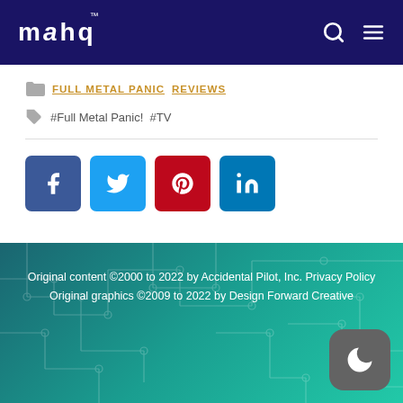MAHQ
FULL METAL PANIC   REVIEWS
#Full Metal Panic!  #TV
[Figure (infographic): Social share buttons: Facebook (blue), Twitter (light blue), Pinterest (red), LinkedIn (teal)]
Original content ©2000 to 2022 by Accidental Pilot, Inc. Privacy Policy
Original graphics ©2009 to 2022 by Design Forward Creative